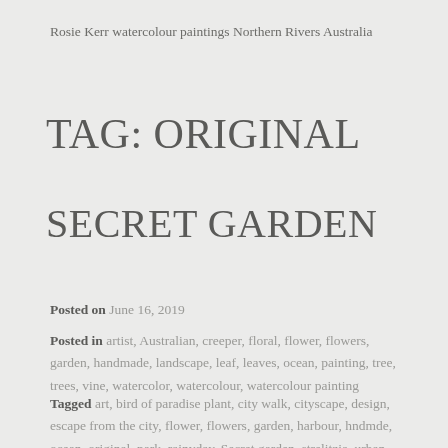Rosie Kerr watercolour paintings Northern Rivers Australia
TAG: ORIGINAL
SECRET GARDEN
Posted on June 16, 2019
Posted in artist, Australian, creeper, floral, flower, flowers, garden, handmade, landscape, leaf, leaves, ocean, painting, tree, trees, vine, watercolor, watercolour, watercolour painting
Tagged art, bird of paradise plant, city walk, cityscape, design, escape from the city, flower, flowers, garden, harbour, hndmde, ocean, original, park, rainyday, Secret garden, strelitzia, urban